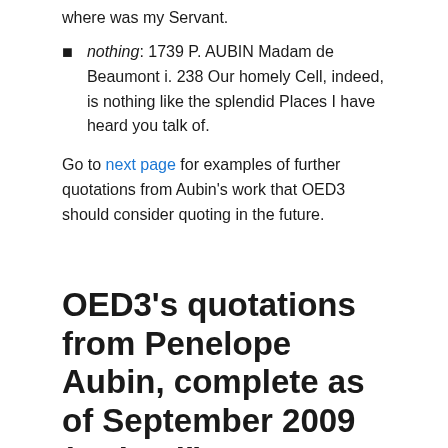where was my Servant.
nothing: 1739 P. AUBIN Madam de Beaumont i. 238 Our homely Cell, indeed, is nothing like the splendid Places I have heard you talk of.
Go to next page for examples of further quotations from Aubin's work that OED3 should consider quoting in the future.
OED3's quotations from Penelope Aubin, complete as of September 2009 (35 in all)
Advanced search in QUOTATIONS for P. AUBIN in